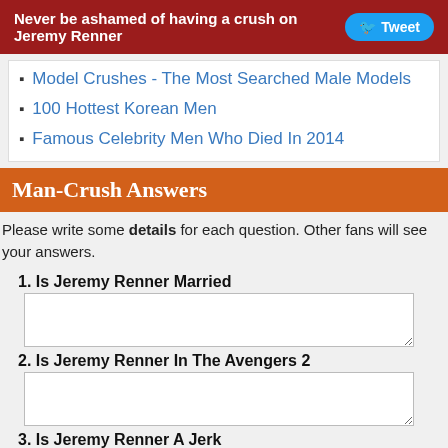Never be ashamed of having a crush on Jeremy Renner  [Tweet]
Model Crushes - The Most Searched Male Models
100 Hottest Korean Men
Famous Celebrity Men Who Died In 2014
Man-Crush Answers
Please write some details for each question. Other fans will see your answers.
1. Is Jeremy Renner Married
2. Is Jeremy Renner In The Avengers 2
3. Is Jeremy Renner A Jerk
4. Is Jeremy Renner Single